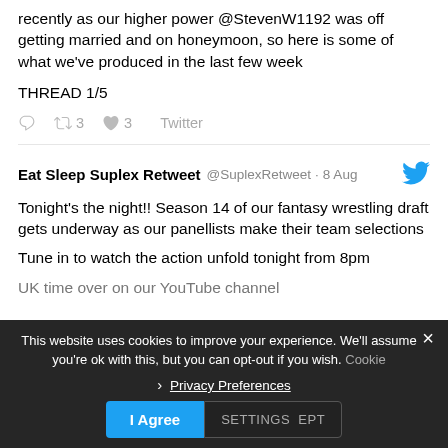recently as our higher power @StevenW1192 was off getting married and on honeymoon, so here is some of what we've produced in the last few week
THREAD 1/5
3 retweets, 3 likes, Twitter
Eat Sleep Suplex Retweet @SuplexRetweet · 8 Aug
Tonight's the night!! Season 14 of our fantasy wrestling draft gets underway as our panellists make their team selections
Tune in to watch the action unfold tonight from 8pm UK time over on our YouTube channel
This website uses cookies to improve your experience. We'll assume you're ok with this, but you can opt-out if you wish. Cookie settings | I Agree | Accept